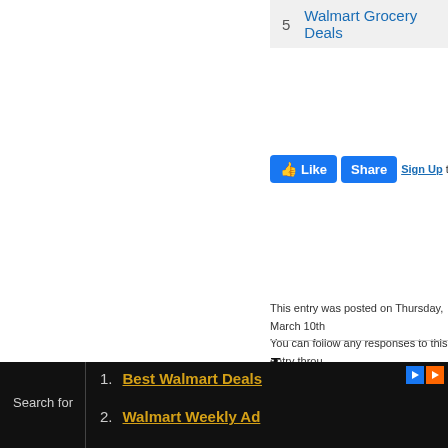5  Walmart Grocery Deals
[Figure (screenshot): Facebook Like and Share buttons followed by 'Sign Up to see what your' text]
This entry was posted on Thursday, March 10th  You can follow any responses to this entry throu
Leave a Reply
[Figure (screenshot): Form fields for Name, Mail (will n...), and Website]
Search for
1. Best Walmart Deals
2. Walmart Weekly Ad